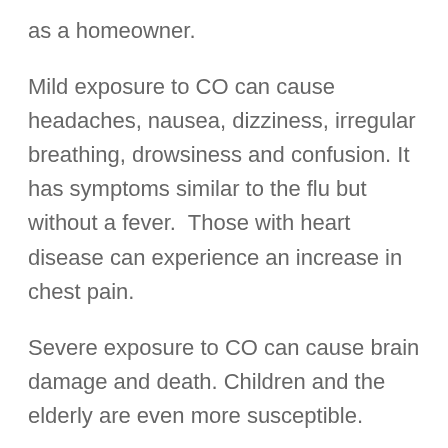as a homeowner.
Mild exposure to CO can cause headaches, nausea, dizziness, irregular breathing, drowsiness and confusion. It has symptoms similar to the flu but without a fever. Those with heart disease can experience an increase in chest pain.
Severe exposure to CO can cause brain damage and death. Children and the elderly are even more susceptible.